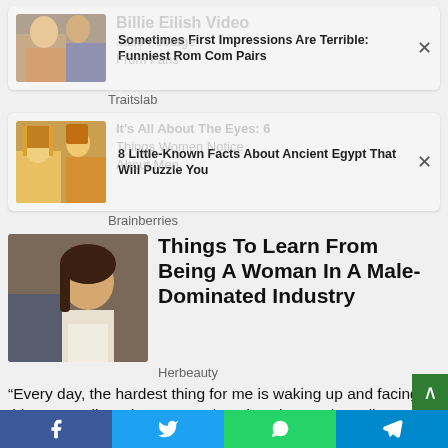[Figure (photo): Ad card thumbnail – couple from romantic comedy]
Sometimes First Impressions Are Terrible: Funniest Rom Com Pairs
Traitslab
[Figure (photo): Ad card thumbnail – Ancient Egyptian figures illustration]
8 Little-Known Facts About Ancient Egypt That Will Puzzle You
Brainberries
[Figure (photo): Article thumbnail – woman sitting at table]
Things To Learn From Being A Woman In A Male-Dominated Industry
Herbeauty
“Every day, the hardest thing for me is waking up and facing this new reality,” she wrote. “I just don’t know when I’ll ever …